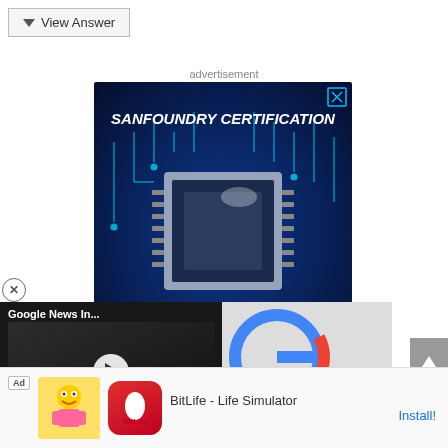View Answer
advertisement
[Figure (screenshot): Sanfoundry Certification advertisement banner showing a circuit board/microchip with glowing cyan circuit lines on a dark blue background. Bold italic white text reads 'SANFOUNDRY CERTIFICATION' at top and 'RTED FREE' (Get Started Free) at bottom right. Has X close button.]
[Figure (screenshot): Video overlay showing Google News Initiative story. Title: 'Google News In...' Subtitle text: 'Google News Initiative Brings New Tool Fake News Fig...' with play button circle.]
[Figure (screenshot): Bottom advertisement bar: Ad badge, character illustration, BitLife app icon, text 'BitLife - Life Simulator', Install button link in blue]
10. Wh